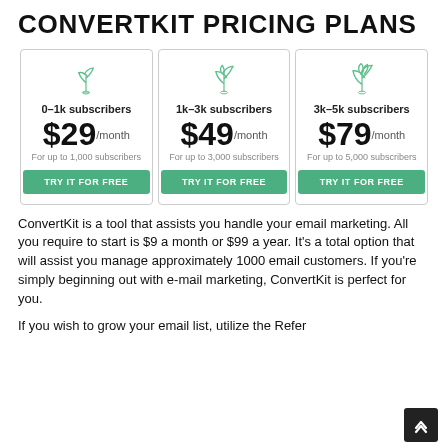CONVERTKIT PRICING PLANS
[Figure (infographic): Three pricing plan cards for ConvertKit: Plan 1: 0-1k subscribers, $29/month, For up to 1,000 subscribers, TRY IT FOR FREE. Plan 2: 1k-3k subscribers, $49/month, For up to 3,000 subscribers, TRY IT FOR FREE. Plan 3: 3k-5k subscribers, $79/month, For up to 5,000 subscribers, TRY IT FOR FREE. Each card has a plant/seedling icon at the top.]
ConvertKit is a tool that assists you handle your email marketing. All you require to start is $9 a month or $99 a year. It's a total option that will assist you manage approximately 1000 email customers. If you're simply beginning out with e-mail marketing, ConvertKit is perfect for you.
If you wish to grow your email list, utilize the Refer